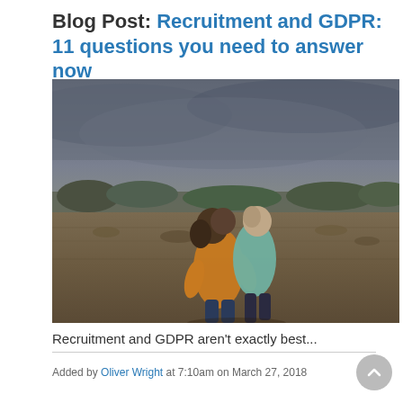Blog Post: Recruitment and GDPR: 11 questions you need to answer now
[Figure (photo): Two children hugging in an open field with a dramatic cloudy sky in the background. One child wears an orange/mustard top, the other a light blue/teal top.]
Recruitment and GDPR aren't exactly best...
Added by Oliver Wright at 7:10am on March 27, 2018